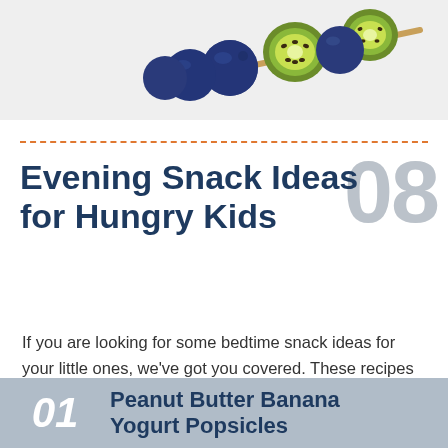[Figure (illustration): Fruit skewer illustration showing blueberries and kiwi slices on a stick against a light gray background]
08 Evening Snack Ideas for Hungry Kids
If you are looking for some bedtime snack ideas for your little ones, we've got you covered. These recipes are all full of ingredients that are calming and should help your kids fill the grumblies in their tummies before bed.
01 Peanut Butter Banana Yogurt Popsicles